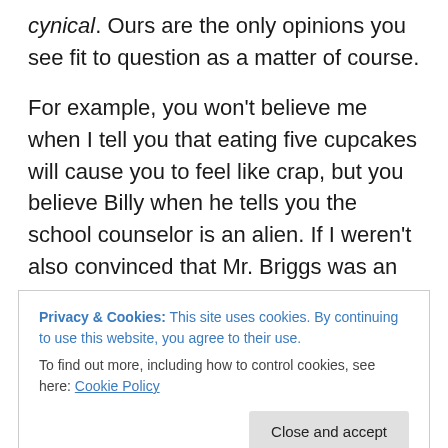cynical. Ours are the only opinions you see fit to question as a matter of course.
For example, you won't believe me when I tell you that eating five cupcakes will cause you to feel like crap, but you believe Billy when he tells you the school counselor is an alien. If I weren't also convinced that Mr. Briggs was an alien, I'd seriously question your judgment.
Mr. Briggs aside, the case still stands that anything I tell you is up for review and critical analysis, whereas anything you hear, see or read elsewhere is to be accepted without
Privacy & Cookies: This site uses cookies. By continuing to use this website, you agree to their use.
To find out more, including how to control cookies, see here: Cookie Policy
delivery truck, but lived to tell about it because his head